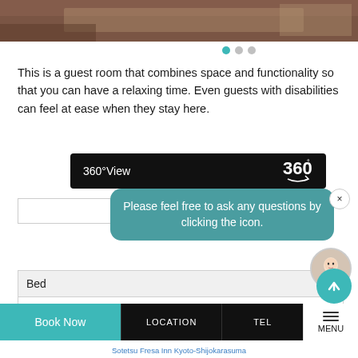[Figure (photo): Top portion of a hotel guest room photo showing a bed and table]
[Figure (infographic): Three navigation dots — first dot active (teal), two inactive (gray)]
This is a guest room that combines space and functionality so that you can have a relaxing time. Even guests with disabilities can feel at ease when they stay here.
[Figure (screenshot): 360°View button bar in black with 360° icon]
Please feel free to ask any questions by clicking the icon.
| Bed |
| --- |
| Serta Single (120cm width) x2 |
Book Now  LOCATION  TEL  MENU
Sotetsu Fresa Inn Kyoto-Shijokarasuma